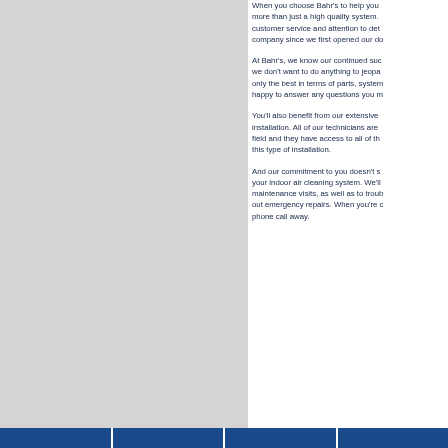[Figure (photo): Gray rectangular panel on the left side of the page]
When you choose Bahr's to help you more than just a high quality system. customer service and attention to det company since we first opened our do
At Bahr's, we know our continued suc we don't want to do anything to jeopa only the best in terms of parts, system happy to answer any questions you m
You'll also benefit from our extensive installation. All of our technicians are field and they have access to all of th this type of installation.
And our commitment to you doesn't s your indoor air cleaning system. We'll maintenance visits, as well as to troub out emergency repairs. When you're c phone call away.